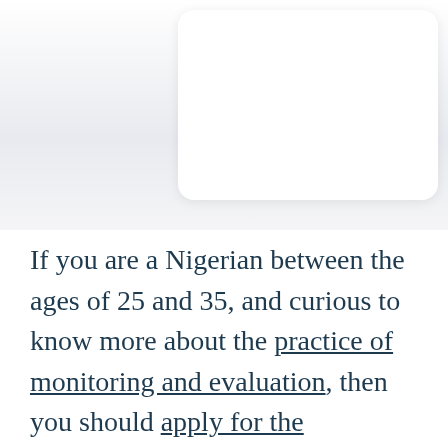[Figure (photo): Top portion of page showing a light gray/blue background area with a white rounded card/panel in the upper right corner, suggesting a mobile app or web page screenshot context.]
If you are a Nigerian between the ages of 25 and 35, and curious to know more about the practice of monitoring and evaluation, then you should apply for the Mastercard Foundation Young Impact Associates (YIA) Program by